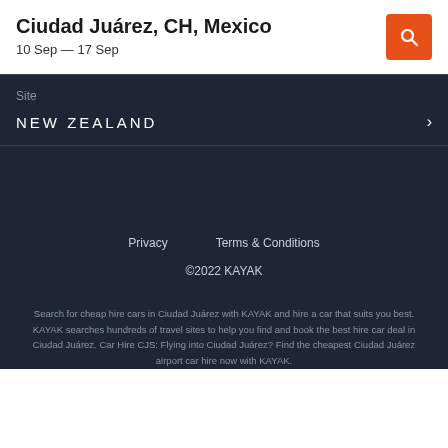Ciudad Juárez, CH, Mexico
10 Sep — 17 Sep
Site
NEW ZEALAND
Privacy
Terms & Conditions
©2022 KAYAK
Search for cheap hire cars in Ciudad Juárez with KAYAK and hire a car that suits you best. KAYAK searches hundreds of travel sites to help you find and book the best hire car deal in Ciudad Juárez. Car Hire CJS: Flying into Ciudad Juárez? Find the cheapest Ciudad Juárez airport car hire now with KAYAK.